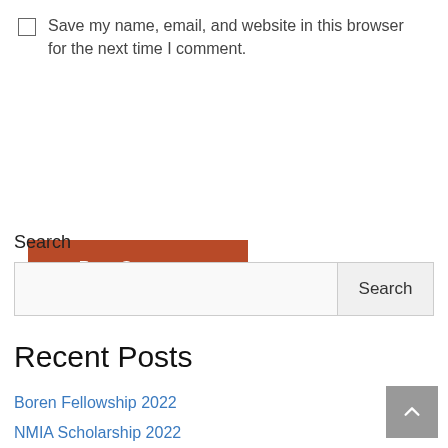Save my name, email, and website in this browser for the next time I comment.
Post Comment
Search
Recent Posts
Boren Fellowship 2022
NMIA Scholarship 2022
Orion Fund Grant 2022
Joel Polsky Prize 2022
SCSPE Scholarship 2022